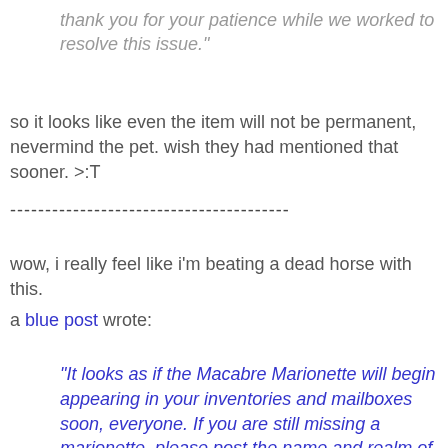thank you for your patience while we worked to resolve this issue."
so it looks like even the item will not be permanent, nevermind the pet. wish they had mentioned that sooner. >:T
----------------------------------------
wow, i really feel like i'm beating a dead horse with this.
a blue post wrote:
"It looks as if the Macabre Marionette will begin appearing in your inventories and mailboxes soon, everyone. If you are still missing a marionette, please post the name and realm of the character in question so that we can look further into this.

Thanks!"
so it seems like they are restoring the pets to those that have